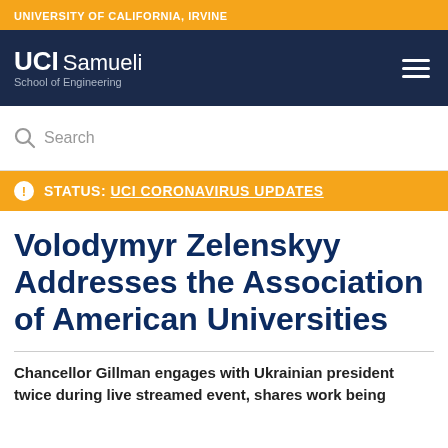UNIVERSITY OF CALIFORNIA, IRVINE
UCI Samueli School of Engineering
Search
STATUS: UCI CORONAVIRUS UPDATES
Volodymyr Zelenskyy Addresses the Association of American Universities
Chancellor Gillman engages with Ukrainian president twice during live streamed event, shares work being